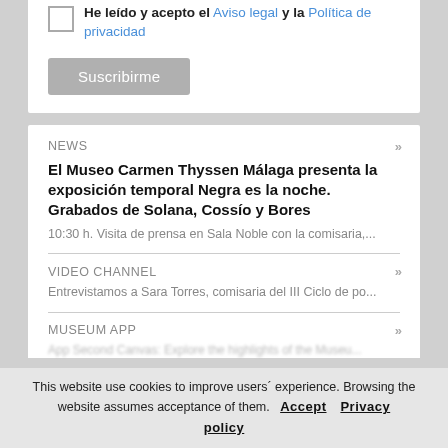He leído y acepto el Aviso legal y la Política de privacidad
Suscribirme
NEWS
El Museo Carmen Thyssen Málaga presenta la exposición temporal Negra es la noche. Grabados de Solana, Cossío y Bores
10:30 h. Visita de prensa en Sala Noble con la comisaria,...
VIDEO CHANNEL
Entrevistamos a Sara Torres, comisaria del III Ciclo de po...
MUSEUM APP
App Second Canvas: Explore the highlights of the Museu...
This website use cookies to improve users´ experience. Browsing the website assumes acceptance of them.  Accept   Privacy policy